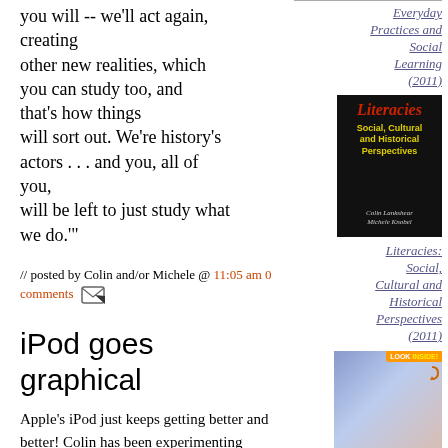you will -- we'll act again, creating other new realities, which you can study too, and that's how things will sort out. We're history's actors . . . and you, all of you, will be left to just study what we do.'"
// posted by Colin and/or Michele @ 11:05 am 0 comments
iPod goes graphical
Apple's iPod just keeps getting better and better! Colin has been experimenting recently with a voice recording peripheral released for the iPod and is really pleased with the results. The iPod extended-life battery
Everyday Practices and Social Learning (2011)
[Figure (photo): Book cover: Literacies: Social, Cultural and Historical Perspectives by Colin Lankshear and Michele Knobel, black background with red and yellow title text]
Literacies: Social, Cultural and Historical Perspectives (2011)
[Figure (photo): Book cover with 'Look Inside!' badge, colorful illustrated cover]